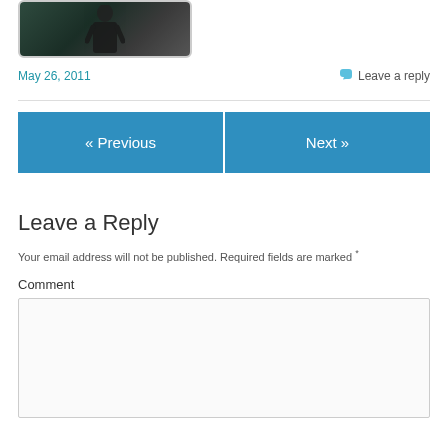[Figure (photo): Partial view of a person in dark clothing against a teal/dark background, shown from roughly the torso up, clipped at top]
May 26, 2011
Leave a reply
« Previous
Next »
Leave a Reply
Your email address will not be published. Required fields are marked *
Comment